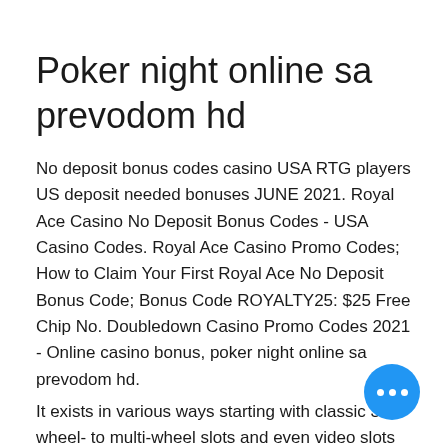Poker night online sa prevodom hd
No deposit bonus codes casino USA RTG players US deposit needed bonuses JUNE 2021. Royal Ace Casino No Deposit Bonus Codes - USA Casino Codes. Royal Ace Casino Promo Codes; How to Claim Your First Royal Ace No Deposit Bonus Code; Bonus Code ROYALTY25: $25 Free Chip No. Doubledown Casino Promo Codes 2021 - Online casino bonus, poker night online sa prevodom hd.
It exists in various ways starting with classic 3 wheel- to multi-wheel slots and even video slots with fascinating jackpots, poker night online sa prevodom hd.
The free chip value varies from $5 up Free spins No deposit free spins casinos for